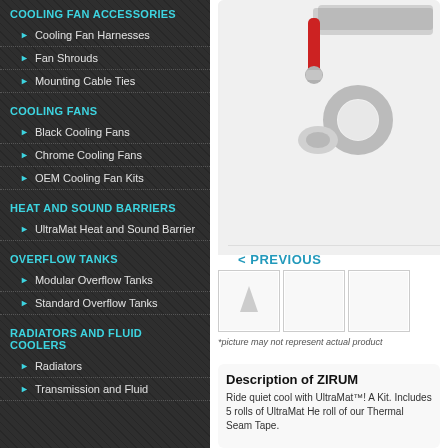COOLING FAN ACCESSORIES
Cooling Fan Harnesses
Fan Shrouds
Mounting Cable Ties
COOLING FANS
Black Cooling Fans
Chrome Cooling Fans
OEM Cooling Fan Kits
HEAT AND SOUND BARRIERS
UltraMat Heat and Sound Barrier
OVERFLOW TANKS
Modular Overflow Tanks
Standard Overflow Tanks
RADIATORS AND FLUID COOLERS
Radiators
Transmission and Fluid
[Figure (photo): Product image showing a red-handled tool and silver components (tape/ring) with braided hose]
< PREVIOUS
[Figure (photo): Thumbnail images of product variants]
*picture may not represent actual product
Description of ZIRUM
Ride quiet cool with UltraMat™! A Kit. Includes 5 rolls of UltraMat He roll of our Thermal Seam Tape.